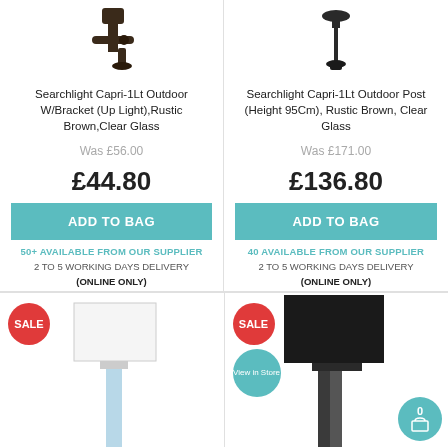[Figure (photo): Searchlight Capri-1Lt Outdoor W/Bracket (Up Light) in Rustic Brown, top portion visible]
[Figure (photo): Searchlight Capri-1Lt Outdoor Post (Height 95Cm) in Rustic Brown, top portion visible]
Searchlight Capri-1Lt Outdoor W/Bracket (Up Light),Rustic Brown,Clear Glass
Searchlight Capri-1Lt Outdoor Post (Height 95Cm), Rustic Brown, Clear Glass
Was £56.00
Was £171.00
£44.80
£136.80
ADD TO BAG
ADD TO BAG
50+ AVAILABLE FROM OUR SUPPLIER
2 TO 5 WORKING DAYS DELIVERY
(ONLINE ONLY)
40 AVAILABLE FROM OUR SUPPLIER
2 TO 5 WORKING DAYS DELIVERY
(ONLINE ONLY)
[Figure (photo): Table lamp with white rectangular shade and glass base, SALE badge, partial view]
[Figure (photo): Table lamp with black rectangular shade and dark metallic base, SALE badge, View in Store badge, cart icon with 0]